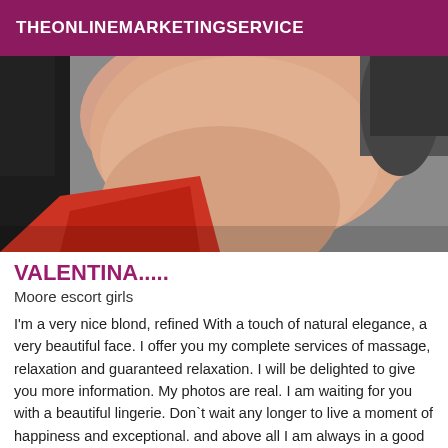THEONLINEMARKETINGSERVICE
[Figure (photo): Close-up photo of a person wearing a red dress, showing neck and shoulder area, with dark hair accessories visible]
VALENTINA.....
Moore escort girls
I'm a very nice blond, refined With a touch of natural elegance, a very beautiful face. I offer you my complete services of massage, relaxation and guaranteed relaxation. I will be delighted to give you more information. My photos are real. I am waiting for you with a beautiful lingerie. Don`t wait any longer to live a moment of happiness and exceptional. and above all I am always in a good mood. Contact me to arrange an